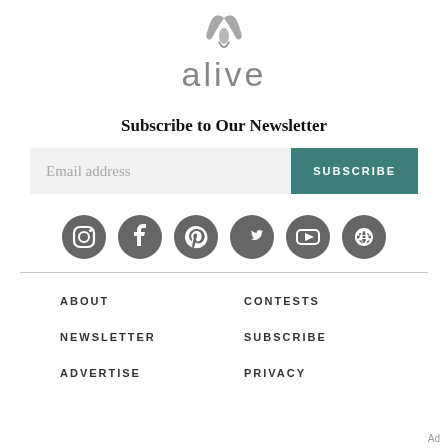[Figure (logo): alive brand logo with stylized leaf/bird mark above the word 'alive' in gray sans-serif font]
Subscribe to Our Newsletter
[Figure (infographic): Email subscription form with a gray 'Email address' input field and a teal 'SUBSCRIBE' button]
[Figure (infographic): Row of 6 gray social media icons: Instagram, Facebook, Pinterest, Twitter, YouTube, RSS]
ABOUT
CONTESTS
NEWSLETTER
SUBSCRIBE
ADVERTISE
PRIVACY
Ad